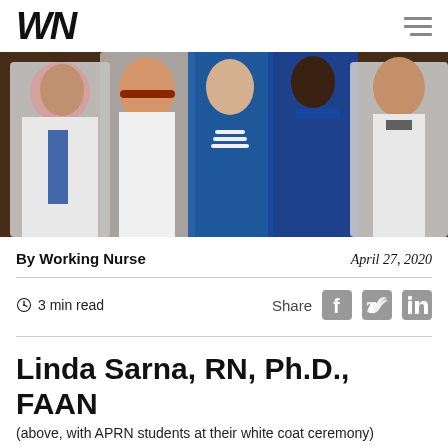WN
[Figure (photo): Group photo of nursing students and faculty in white coats and blue outfits at a white coat ceremony]
By Working Nurse	April 27, 2020
3 min read   Share
Linda Sarna, RN, Ph.D., FAAN
(above, with APRN students at their white coat ceremony)